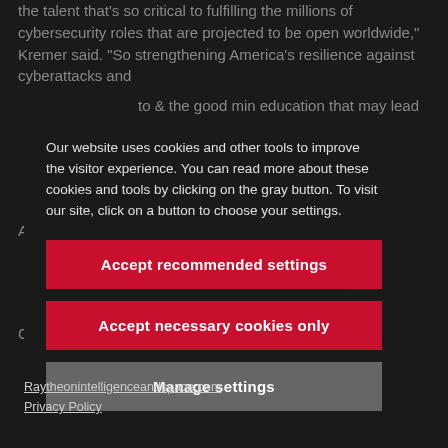the talent that's so critical to fulfilling the millions of cybersecurity roles that are projected to be open worldwide," Kremer said. "So strengthening America's resilience against cyberattacks and...
Our website uses cookies and other tools to improve the visitor experience. You can read more about these cookies and tools by clicking on the gray button. To visit our site, click on a button to choose your settings.
Accept recommended settings
Accept necessary cookies only
Manage settings
Raytheonintelligenceandspace.com
Privacy Policy